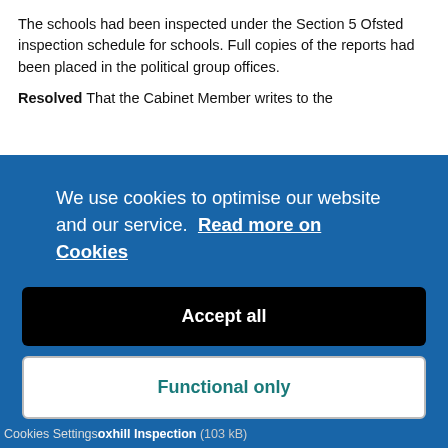The schools had been inspected under the Section 5 Ofsted inspection schedule for schools.  Full copies of the reports had been placed in the political group offices.
Resolved   That the Cabinet Member writes to the
We use cookies to optimise our website and our service.  Read more on Cookies
Accept all
Functional only
Cookies preferences
Cookies Settings  oxhill Inspection (103 kB)